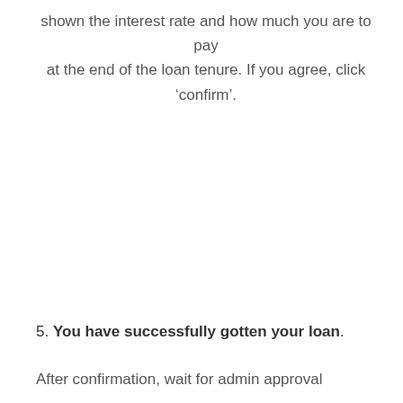shown the interest rate and how much you are to pay at the end of the loan tenure. If you agree, click 'confirm'.
5. You have successfully gotten your loan.
After confirmation, wait for admin approval